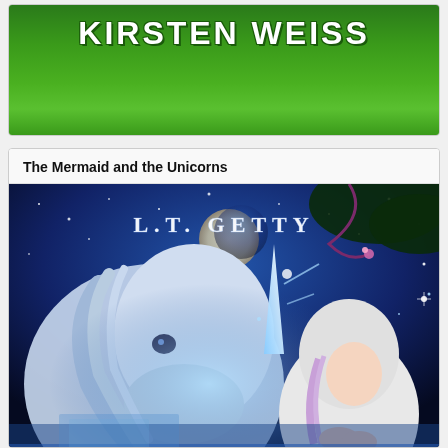[Figure (illustration): Author name banner 'KIRSTEN WEISS' in large white bold text on a green grassy background]
The Mermaid and the Unicorns
[Figure (illustration): Book cover for 'The Mermaid and the Unicorns' by L.T. Getty showing a white unicorn nuzzling a girl in a white hoodie under a blue moonlit starry sky]